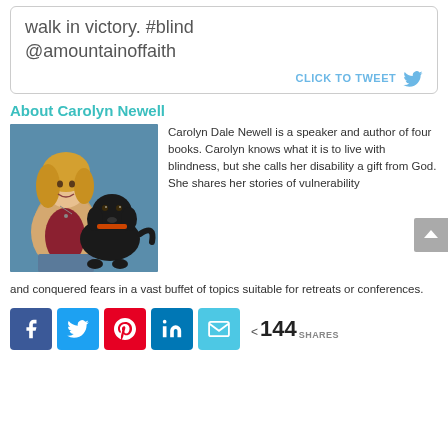walk in victory. #blind @amountainoffaith
CLICK TO TWEET
About Carolyn Newell
[Figure (photo): Carolyn Dale Newell seated with a black Labrador guide dog against a blue background]
Carolyn Dale Newell is a speaker and author of four books. Carolyn knows what it is to live with blindness, but she calls her disability a gift from God. She shares her stories of vulnerability and conquered fears in a vast buffet of topics suitable for retreats or conferences.